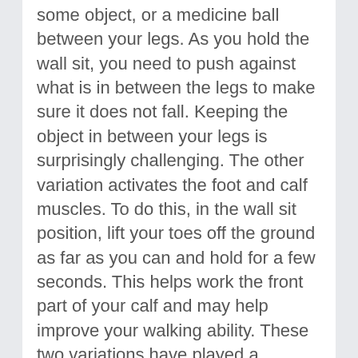some object, or a medicine ball between your legs. As you hold the wall sit, you need to push against what is in between the legs to make sure it does not fall. Keeping the object in between your legs is surprisingly challenging. The other variation activates the foot and calf muscles. To do this, in the wall sit position, lift your toes off the ground as far as you can and hold for a few seconds. This helps work the front part of your calf and may help improve your walking ability. These two variations have played a significant contribution in helping me exercise the lower body isometrically.
The benefits of this exercise stem from its ability to improve the endurance and strength in your lower body which is critical for walking and various exercises such as rowing and cycling. The wall sit is a substitute for the squatting position that doctors recommend I avoid due to muscular dystrophy. I have found that sitting in that position and tightening my hips, glutes,